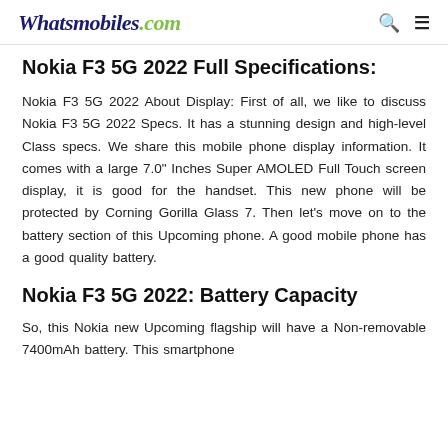Whatsmobiles.com
Nokia F3 5G 2022 Full Specifications:
Nokia F3 5G 2022 About Display: First of all, we like to discuss Nokia F3 5G 2022 Specs. It has a stunning design and high-level Class specs. We share this mobile phone display information. It comes with a large 7.0" Inches Super AMOLED Full Touch screen display, it is good for the handset. This new phone will be protected by Corning Gorilla Glass 7. Then let's move on to the battery section of this Upcoming phone. A good mobile phone has a good quality battery.
Nokia F3 5G 2022: Battery Capacity
So, this Nokia new Upcoming flagship will have a Non-removable 7400mAh battery. This smartphone